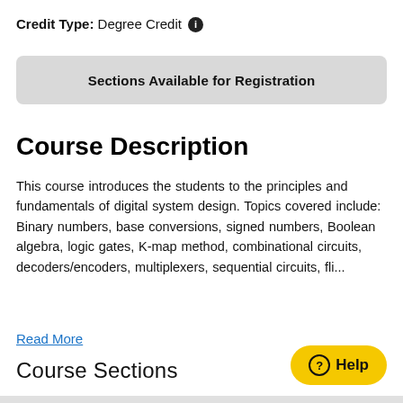Credit Type: Degree Credit ℹ
Sections Available for Registration
Course Description
This course introduces the students to the principles and fundamentals of digital system design. Topics covered include: Binary numbers, base conversions, signed numbers, Boolean algebra, logic gates, K-map method, combinational circuits, decoders/encoders, multiplexers, sequential circuits, fli...
Read More
Course Sections